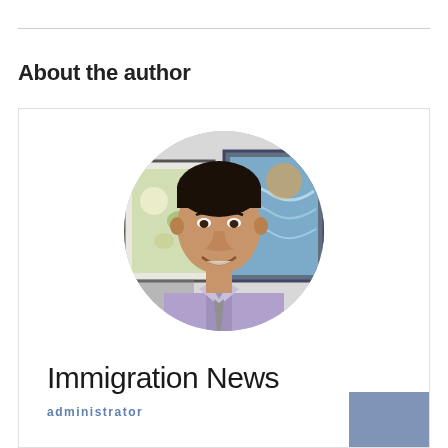About the author
[Figure (photo): Circular portrait photo of a man in a purple/lavender dress shirt and tie, smiling, with artwork/paintings visible in the background.]
Immigration News
administrator